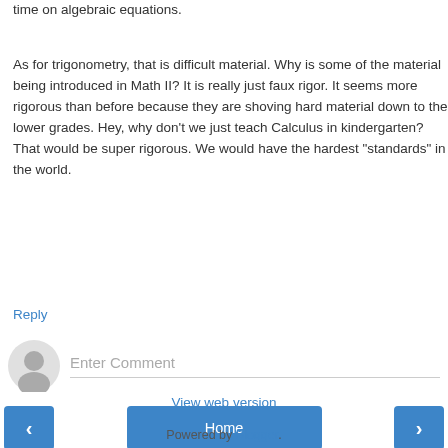time on algebraic equations.
As for trigonometry, that is difficult material. Why is some of the material being introduced in Math II? It is really just faux rigor. It seems more rigorous than before because they are shoving hard material down to the lower grades. Hey, why don't we just teach Calculus in kindergarten? That would be super rigorous. We would have the hardest "standards" in the world.
Reply
Enter Comment
Home
View web version
Powered by Blogger.